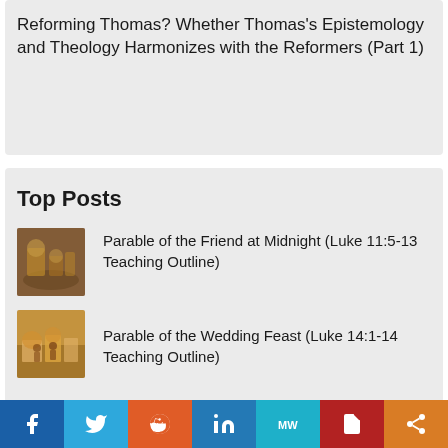Reforming Thomas? Whether Thomas's Epistemology and Theology Harmonizes with the Reformers (Part 1)
Top Posts
Parable of the Friend at Midnight (Luke 11:5-13 Teaching Outline)
Parable of the Wedding Feast (Luke 14:1-14 Teaching Outline)